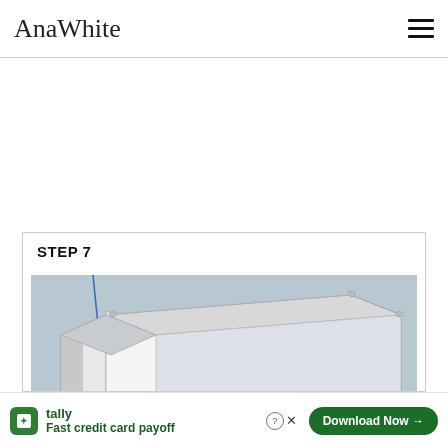AnaWhite
STEP 7
[Figure (illustration): 3D SketchUp-style illustration of a wooden box or drawer frame assembly, viewed from above at an angle, showing white panels forming a rectangular open-top box structure with gray interior, a blue guide line at top-left corner, on a light blue-gray background.]
tally Fast credit card payoff Download Now →